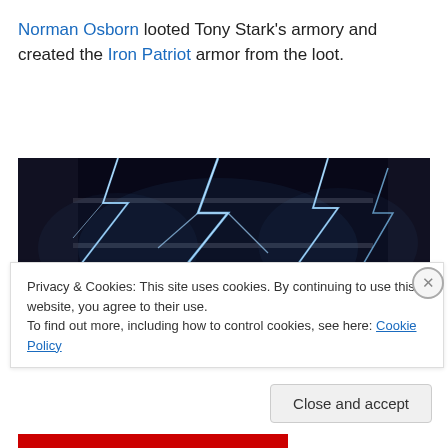Norman Osborn looted Tony Stark's armory and created the Iron Patriot armor from the loot.
[Figure (photo): Lightning bolts / electricity arcing across dark server or tech equipment panels]
Privacy & Cookies: This site uses cookies. By continuing to use this website, you agree to their use.
To find out more, including how to control cookies, see here: Cookie Policy